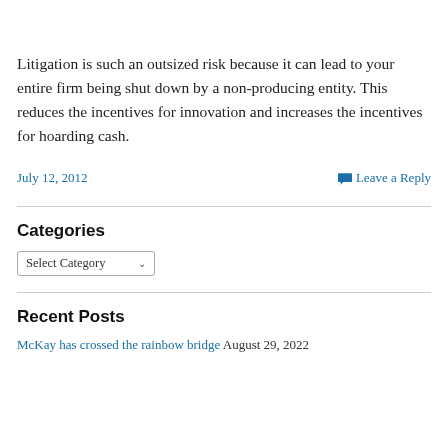Litigation is such an outsized risk because it can lead to your entire firm being shut down by a non-producing entity. This reduces the incentives for innovation and increases the incentives for hoarding cash.
July 12, 2012    Leave a Reply
Categories
Select Category
Recent Posts
McKay has crossed the rainbow bridge  August 29, 2022